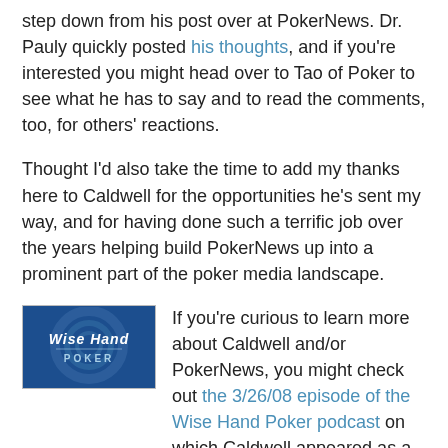step down from his post over at PokerNews. Dr. Pauly quickly posted his thoughts, and if you're interested you might head over to Tao of Poker to see what he has to say and to read the comments, too, for others' reactions.
Thought I'd also take the time to add my thanks here to Caldwell for the opportunities he's sent my way, and for having done such a terrific job over the years helping build PokerNews up into a prominent part of the poker media landscape.
[Figure (logo): Wise Hand Poker logo — blue background with swirl design and white text reading 'Wise Hand POKER']
If you're curious to learn more about Caldwell and/or PokerNews, you might check out the 3/26/08 episode of the Wise Hand Poker podcast on which Caldwell appeared as a guest. Gary Wise interviews Caldwell for the first half of that episode.
Wise and Caldwell began the show chatting some about the history of PokerNews (which first started up in late 2004), moved on to talk about Caldwell's background working in the music industry, then spent the rest of the conversation